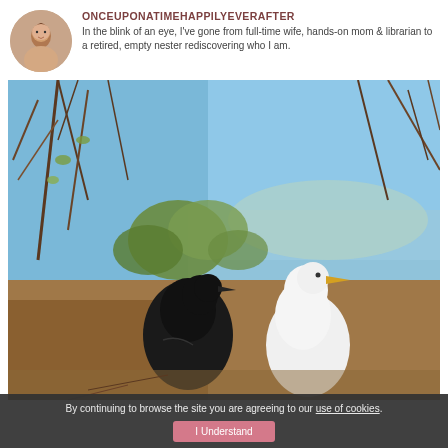[Figure (illustration): Circular avatar photo of a woman]
ONCEUPONATIMEHAPPILYEVERAFTER
In the blink of an eye, I've gone from full-time wife, hands-on mom & librarian to a retired, empty nester rediscovering who I am.
[Figure (photo): Outdoor nature photo showing two ducks or birds — one black and one white — among dry branches and greenery near a body of water with blue sky in background]
By continuing to browse the site you are agreeing to our use of cookies.
I Understand